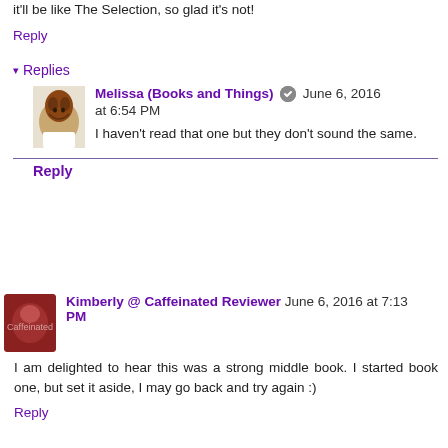it'll be like The Selection, so glad it's not!
Reply
Replies
Melissa (Books and Things) June 6, 2016 at 6:54 PM
I haven't read that one but they don't sound the same.
Reply
Kimberly @ Caffeinated Reviewer June 6, 2016 at 7:13 PM
I am delighted to hear this was a strong middle book. I started book one, but set it aside, I may go back and try again :)
Reply